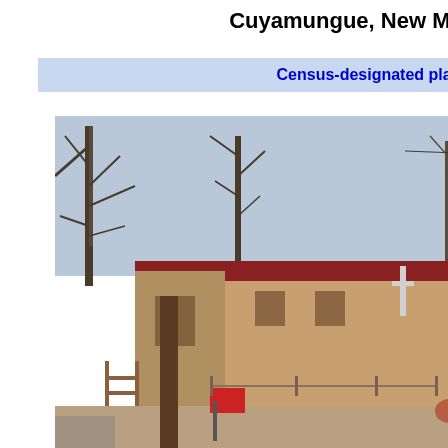Cuyamungue, New Mexico
Census-designated place
[Figure (photo): Street-level view of El Rancho de Nambe in Cuyamungue, New Mexico, February 2012. Adobe-style building with red roof, mailbox and bare trees in foreground, gravel road.]
El Rancho de Nambe, February 2012
[Figure (map): Two maps: left map shows location of Cuyamungue within Santa Fe County with red dot marker; right map shows New Mexico state with highlighted county in orange.]